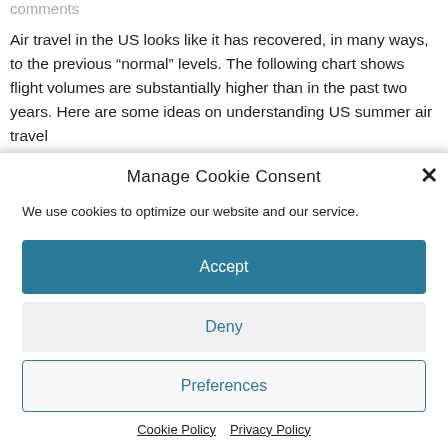comments
Air travel in the US looks like it has recovered, in many ways, to the previous “normal” levels. The following chart shows flight volumes are substantially higher than in the past two years. Here are some ideas on understanding US summer air travel
Manage Cookie Consent
We use cookies to optimize our website and our service.
Accept
Deny
Preferences
Cookie Policy  Privacy Policy